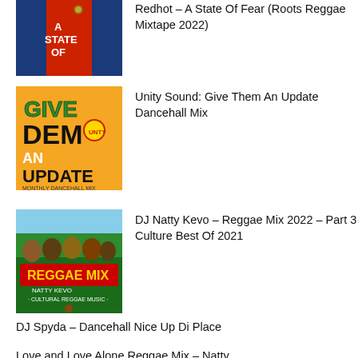Redhot – A State Of Fear (Roots Reggae Mixtape 2022)
Unity Sound: Give Them An Update Dancehall Mix
DJ Natty Kevo – Reggae Mix 2022 – Part 3 Culture Best Of 2021
DJ Spyda – Dancehall Nice Up Di Place
Love and Love Alone Reggae Mix – Natty